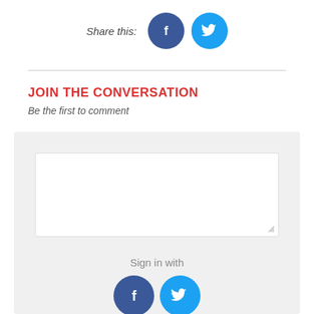[Figure (infographic): Share this: row with italic text 'Share this:' and two circular social media buttons — Facebook (dark blue) and Twitter (light blue)]
JOIN THE CONVERSATION
Be the first to comment
[Figure (infographic): Comment form area with light gray background containing: a white textarea, 'Sign in with' text, two circular social buttons (Facebook dark blue, Twitter light blue), 'Or sign in with email' text, and an Email Address input field with envelope icon]